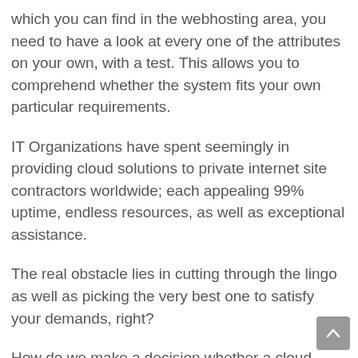which you can find in the webhosting area, you need to have a look at every one of the attributes on your own, with a test. This allows you to comprehend whether the system fits your own particular requirements.
IT Organizations have spent seemingly in providing cloud solutions to private internet site contractors worldwide; each appealing 99% uptime, endless resources, as well as exceptional assistance.
The real obstacle lies in cutting through the lingo as well as picking the very best one to satisfy your demands, right?
How do we make a decision whether a cloud hosting system is actually great?